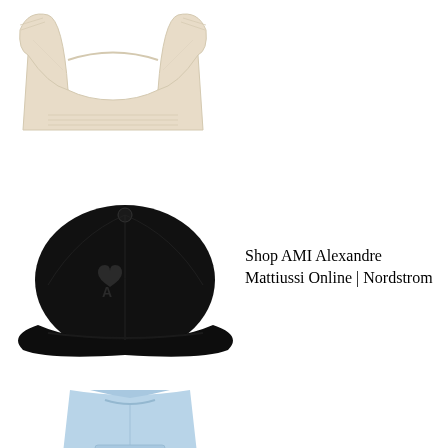[Figure (photo): Cream/beige ribbed knit cropped sweater on white background]
[Figure (photo): Black baseball cap with AMI Alexandre Mattiussi heart logo on white background]
Shop AMI Alexandre Mattiussi Online | Nordstrom
[Figure (photo): Light blue hoodie/sweatshirt partially visible at bottom of page]